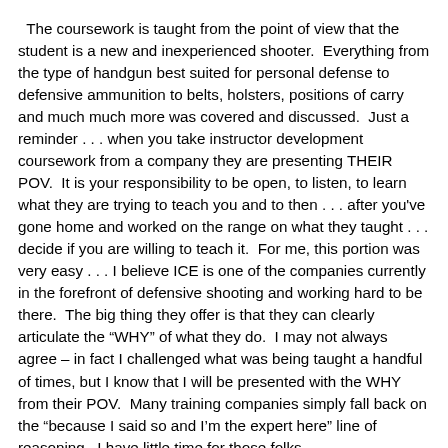The coursework is taught from the point of view that the student is a new and inexperienced shooter. Everything from the type of handgun best suited for personal defense to defensive ammunition to belts, holsters, positions of carry and much much more was covered and discussed. Just a reminder . . . when you take instructor development coursework from a company they are presenting THEIR POV. It is your responsibility to be open, to listen, to learn what they are trying to teach you and to then . . . after you've gone home and worked on the range on what they taught . . . decide if you are willing to teach it. For me, this portion was very easy . . . I believe ICE is one of the companies currently in the forefront of defensive shooting and working hard to be there. The big thing they offer is that they can clearly articulate the “WHY” of what they do. I may not always agree – in fact I challenged what was being taught a handful of times, but I know that I will be presented with the WHY from their POV. Many training companies simply fall back on the “because I said so and I’m the expert here” line of reasoning. I have little time for those folks.